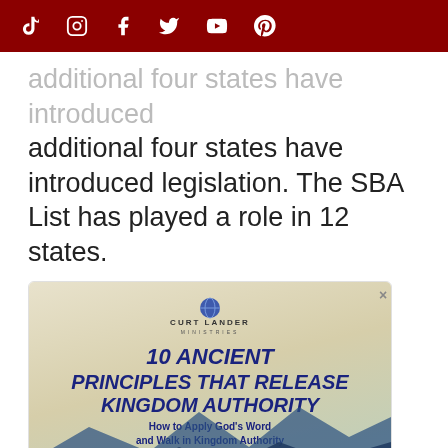[social media icons: TikTok, Instagram, Facebook, Twitter, YouTube, Pinterest]
additional four states have introduced legislation. The SBA List has played a role in 12 states.
[Figure (infographic): Advertisement for Curt Lander Ministries. Title: '10 ANCIENT PRINCIPLES THAT RELEASE KINGDOM AUTHORITY'. Subtitle: 'How to Apply God's Word and Walk in Kingdom Authority'. Button: 'DOWNLOAD NOW'. Background shows mountain silhouettes in blue. Logo at top with globe icon.]